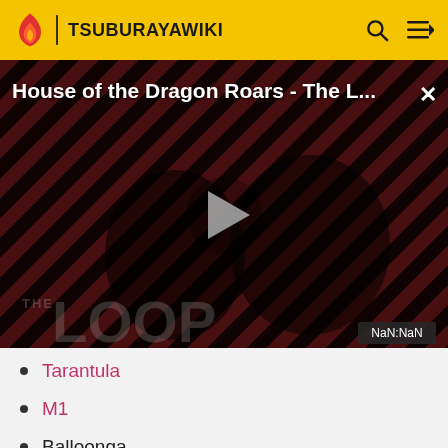TSUBURAYAWIKI
[Figure (screenshot): Video player showing 'House of the Dragon Roars - The L...' with a play button, striped red/black background, two figures visible, THE LOOP branding, and NaN:NaN timestamp badge.]
Tarantula
M1
Balloonga
Largeus
Garamon